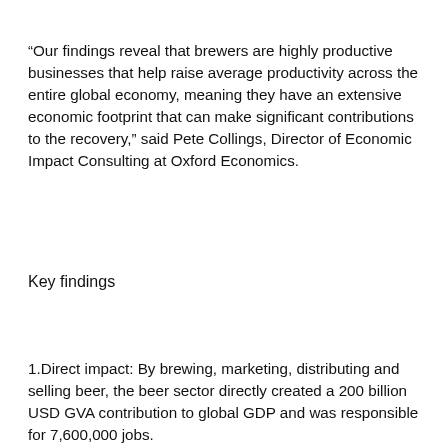“Our findings reveal that brewers are highly productive businesses that help raise average productivity across the entire global economy, meaning they have an extensive economic footprint that can make significant contributions to the recovery,” said Pete Collings, Director of Economic Impact Consulting at Oxford Economics.
Key findings
1.Direct impact: By brewing, marketing, distributing and selling beer, the beer sector directly created a 200 billion USD GVA contribution to global GDP and was responsible for 7,600,000 jobs.